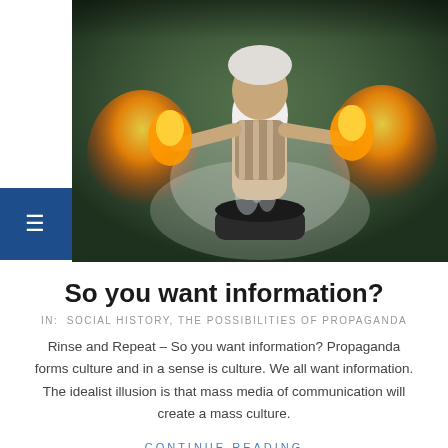[Figure (photo): Fantasy or mythological scene featuring an old man with a long white beard and striped robe, surrounded by fire and smoke, standing behind a large cauldron in a mystical forest setting.]
So you want information?
IN:  SOCIAL HISTORY, THE POSSIBILITIES OF PROPAGANDA
Rinse and Repeat – So you want information? Propaganda forms culture and in a sense is culture. We all want information. The idealist illusion is that mass media of communication will create a mass culture.
CONTINUE READING